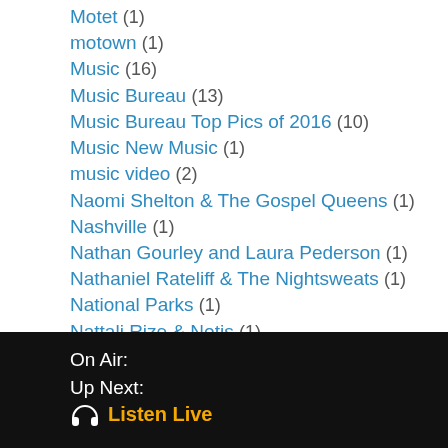Motet (1)
motown (1)
Music (16)
Music Bureau (13)
Music Bureau Top Pics of 2016 (10)
Music New Music (1)
music video (2)
Naomi Shelton & The Gospel Queens (1)
Nashville (1)
Nathan Gourley and Laura Pederson (1)
Nathaniel Rateliff & The Nightsweats (1)
National Parks (1)
Nattali Rize & Notis (1)
Nattali Rize and Notis (1)
Nayaz (1)
neko case (1)
New Basement Tapes (1)
On Air:
Up Next:
🎧 Listen Live